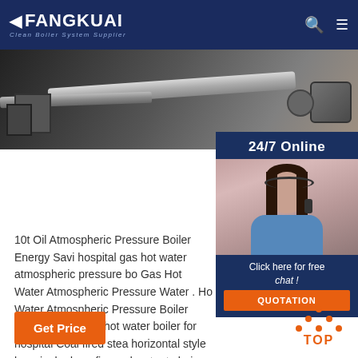FANGKUAI - Clean Boiler System Supplier
[Figure (photo): Industrial boiler equipment with pipes and machinery in dark tones]
[Figure (photo): 24/7 Online support panel with customer service representative wearing headset]
10t Oil Atmospheric Pressure Boiler Energy Savi hospital gas hot water atmospheric pressure bo Gas Hot Water Atmospheric Pressure Water . Ho Water Atmospheric Pressure Boiler Price. Energ fired hot water boiler for hospital Coal fired stea horizontal style low single drum fire and water t chain grate steam WNS series gas .
Get Price
TOP